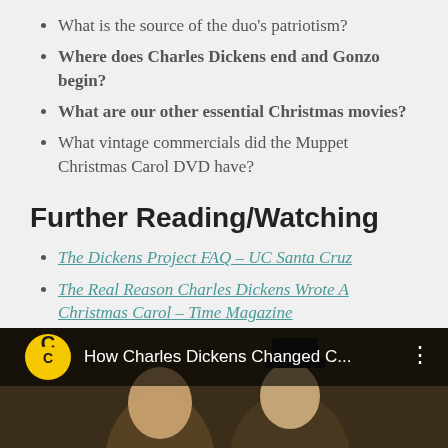What is the source of the duo's patriotism?
Where does Charles Dickens end and Gonzo begin?
What are our other essential Christmas movies?
What vintage commercials did the Muppet Christmas Carol DVD have?
Further Reading/Watching
The Dickens Project FAQ – UC Santa Cruz
The Real Reason Charles Dickens Wrote A Christmas Carol – Time Magazine
[Figure (screenshot): Video thumbnail showing Comedy Central logo and title 'How Charles Dickens Changed C...' with two people visible below]